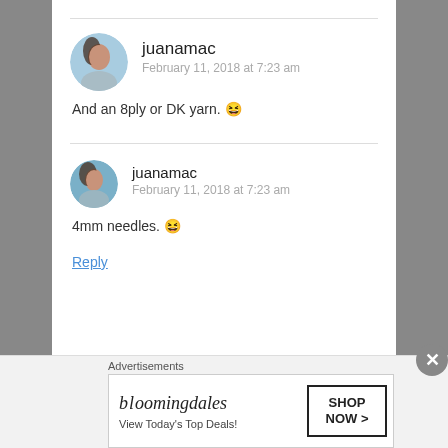[Figure (photo): Avatar photo of juanamac - woman with dark hair]
juanamac
February 11, 2018 at 7:23 am
And an 8ply or DK yarn. 😆
[Figure (photo): Avatar photo of juanamac - woman with dark hair wearing hat]
juanamac
February 11, 2018 at 7:23 am
4mm needles. 😆
Reply
Advertisements
[Figure (other): Bloomingdales ad banner: View Today's Top Deals! SHOP NOW >]